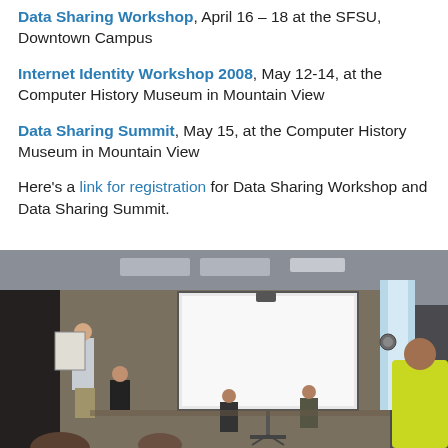Data Sharing Workshop, April 16 – 18 at the SFSU, Downtown Campus
Internet Identity Workshop 2008, May 12-14, at the Computer History Museum in Mountain View
Data Sharing Summit, May 15, at the Computer History Museum in Mountain View
Here's a link for registration for Data Sharing Workshop and Data Sharing Summit.
[Figure (photo): Indoor conference or workshop scene: a presenter stands at the left near a whiteboard, a large projector screen shows a white display, several attendees are seated around tables in a darkened room, a person in a yellow shirt is visible at the far right.]